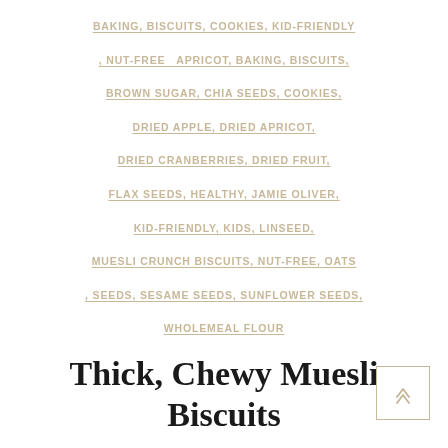BAKING, BISCUITS, COOKIES, KID-FRIENDLY , NUT-FREE   APRICOT, BAKING, BISCUITS, BROWN SUGAR, CHIA SEEDS, COOKIES, DRIED APPLE, DRIED APRICOT, DRIED CRANBERRIES, DRIED FRUIT, FLAX SEEDS, HEALTHY, JAMIE OLIVER, KID-FRIENDLY, KIDS, LINSEED, MUESLI CRUNCH BISCUITS, NUT-FREE, OATS , SEEDS, SESAME SEEDS, SUNFLOWER SEEDS, WHOLEMEAL FLOUR
Thick, Chewy Muesli Biscuits
September 28, 2015